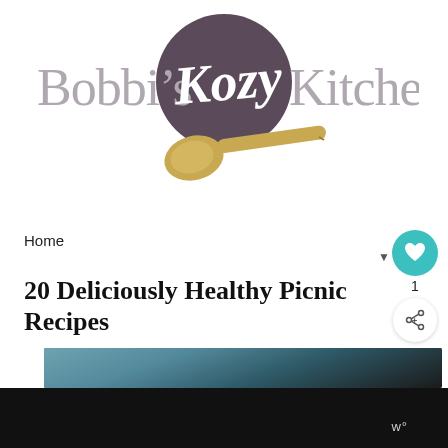[Figure (logo): Bobbi's Kozy Kitchen logo with a dark purple circle containing cursive 'Kozy' text, flanked by 'Bobbi's' and 'Kitchen' in light gray serif font, with a wooden spoon illustration below]
Home
20 Deliciously Healthy Picnic Recipes
[Figure (photo): Partial food photograph showing a dark background with some blue/teal tones suggesting an outdoor picnic food image]
w°